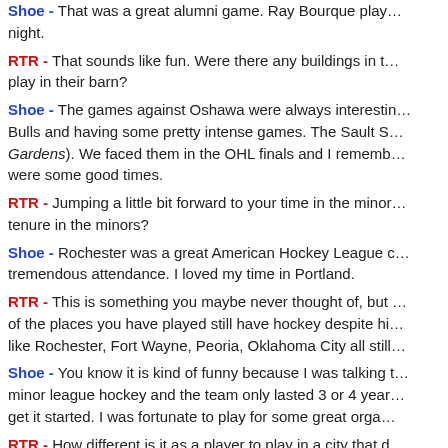Shoe - That was a great alumni game. Ray Bourque play... night.
RTR - That sounds like fun. Were there any buildings in t... play in their barn?
Shoe - The games against Oshawa were always interestin... Bulls and having some pretty intense games. The Sault S... Gardens). We faced them in the OHL finals and I rememb... were some good times.
RTR - Jumping a little bit forward to your time in the minor... tenure in the minors?
Shoe - Rochester was a great American Hockey League c... tremendous attendance. I loved my time in Portland.
RTR - This is something you maybe never thought of, but... of the places you have played still have hockey despite hi... like Rochester, Fort Wayne, Peoria, Oklahoma City all still...
Shoe - You know it is kind of funny because I was talking t... minor league hockey and the team only lasted 3 or 4 year... get it started. I was fortunate to play for some great orga...
RTR - How different is it as a player to play in a city that d... like San Diego or Oklahoma City and play hockey, or even... in the city. How does that compare to playing in a place li...